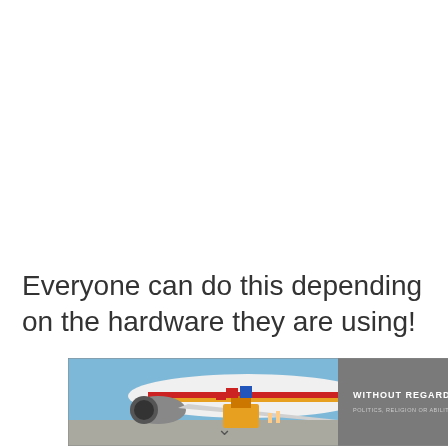Everyone can do this depending on the hardware they are using!
[Figure (photo): Banner image showing cargo being loaded onto an airplane on the tarmac, with a Southwest Airlines aircraft visible. On the right side of the banner is a dark grey panel with white text reading 'WITHOUT REGARD TO' and smaller text below.]